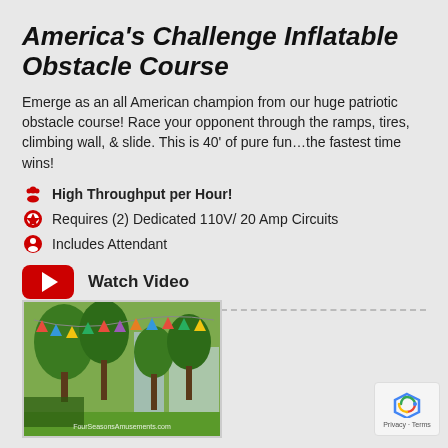America's Challenge Inflatable Obstacle Course
Emerge as an all American champion from our huge patriotic obstacle course! Race your opponent through the ramps, tires, climbing wall, & slide. This is 40' of pure fun…the fastest time wins!
High Throughput per Hour!
Requires (2) Dedicated 110V/ 20 Amp Circuits
Includes Attendant
Watch Video
[Figure (photo): Outdoor party scene with colorful bunting flags hanging between trees, city buildings in background, green lawn in foreground. Watermark: FourSeasonsAmusements.com]